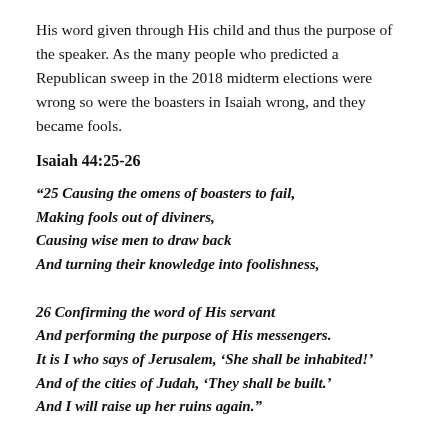His word given through His child and thus the purpose of the speaker. As the many people who predicted a Republican sweep in the 2018 midterm elections were wrong so were the boasters in Isaiah wrong, and they became fools.
Isaiah 44:25-26
“25 Causing the omens of boasters to fail, Making fools out of diviners, Causing wise men to draw back And turning their knowledge into foolishness,

26 Confirming the word of His servant And performing the purpose of His messengers. It is I who says of Jerusalem, ‘She shall be inhabited!’ And of the cities of Judah, ‘They shall be built.’ And I will raise up her ruins again.”